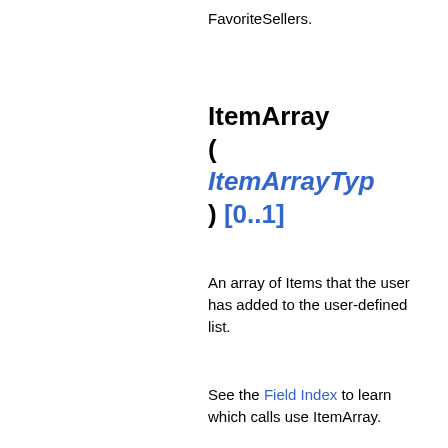FavoriteSellers.
ItemArray ( ItemArrayType ) [0..1]
An array of Items that the user has added to the user-defined list.
See the Field Index to learn which calls use ItemArray.